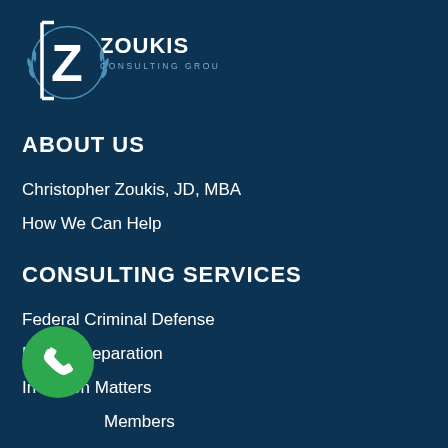[Figure (logo): Zoukis Consulting Group logo — square Z emblem with laurel wreath, text ZOUKIS CONSULTING GROUP]
ABOUT US
Christopher Zoukis, JD, MBA
How We Can Help
CONSULTING SERVICES
Federal Criminal Defense
Prison Preparation
In-Prison Matters
Members
Prisoner Reentry